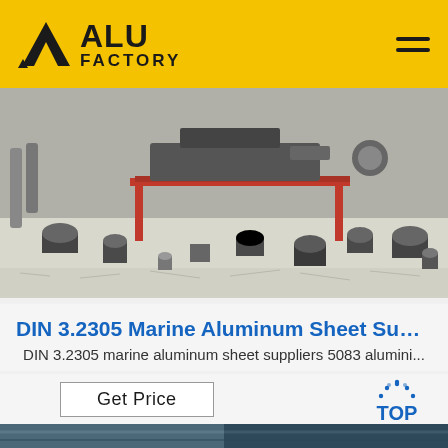ALU FACTORY
[Figure (photo): Industrial aluminum workshop with machinery on a red table, metal pipes, cylindrical parts, and metal shavings on the floor]
DIN 3.2305 Marine Aluminum Sheet Suppl...
DIN 3.2305 marine aluminum sheet suppliers 5083 alumini...
Get Price
[Figure (logo): TOP back-to-top button with dotted arc above the text TOP in blue]
[Figure (photo): Bottom strip showing partial image of blue/teal industrial material or surface]